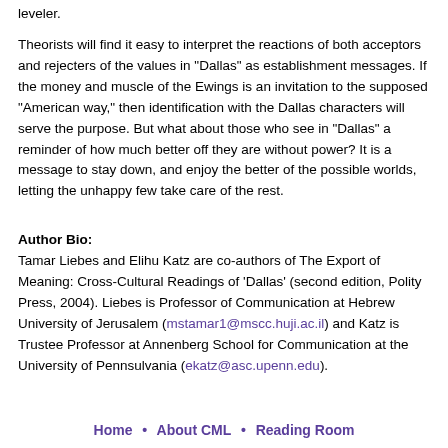leveler.
Theorists will find it easy to interpret the reactions of both acceptors and rejecters of the values in "Dallas" as establishment messages. If the money and muscle of the Ewings is an invitation to the supposed "American way," then identification with the Dallas characters will serve the purpose. But what about those who see in "Dallas" a reminder of how much better off they are without power? It is a message to stay down, and enjoy the better of the possible worlds, letting the unhappy few take care of the rest.
Author Bio:
Tamar Liebes and Elihu Katz are co-authors of The Export of Meaning: Cross-Cultural Readings of 'Dallas' (second edition, Polity Press, 2004). Liebes is Professor of Communication at Hebrew University of Jerusalem (mstamar1@mscc.huji.ac.il) and Katz is Trustee Professor at Annenberg School for Communication at the University of Pennsulvania (ekatz@asc.upenn.edu).
Home • About CML • Reading Room